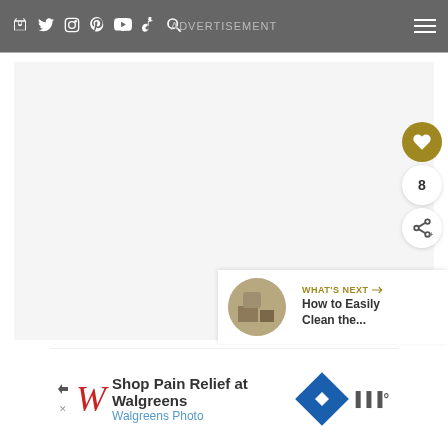Navigation bar with social icons (bag, twitter, instagram, pinterest, youtube, tiktok, search), ADVERTISEMENT text, hamburger menu
[Figure (screenshot): Large light gray content area placeholder]
8
WHAT'S NEXT → How to Easily Clean the...
[Figure (photo): Small circular thumbnail showing a room interior with furniture]
Shop Pain Relief at Walgreens
Walgreens Photo